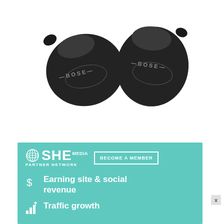[Figure (photo): Product photo of two Bose QuietComfort true wireless earbuds in triple black color, shown side by side on a white background.]
[Figure (infographic): SHE Media Partner Network advertisement banner on teal/turquoise background. Shows SHE MEDIA logo with globe icon and 'BECOME A MEMBER' button. Below: dollar sign icon with 'Earning site & social revenue' and bar chart icon with 'Traffic growth'.]